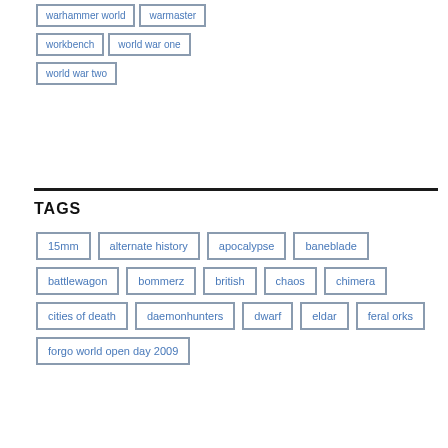warhammer world
warmaster
workbench
world war one
world war two
TAGS
15mm
alternate history
apocalypse
baneblade
battlewagon
bommerz
british
chaos
chimera
cities of death
daemonhunters
dwarf
eldar
feral orks
forgo world open day 2009